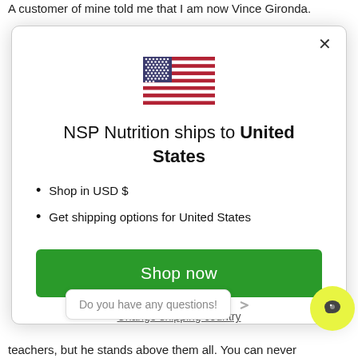A customer of mine told me that I am now Vince Gironda.
[Figure (screenshot): Modal dialog showing NSP Nutrition ships to United States with a US flag icon, bullet points for USD and shipping options, a green Shop now button, and Change shipping country link. A chat tooltip is visible at the bottom.]
teachers, but he stands above them all. You can never